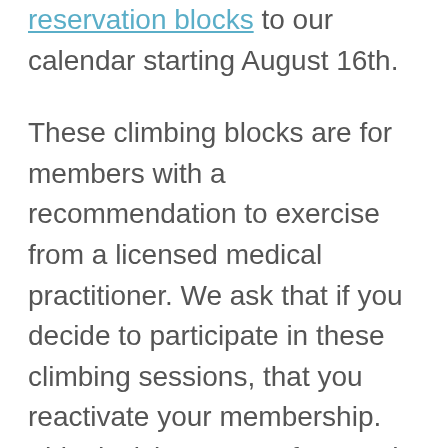reservation blocks to our calendar starting August 16th.
These climbing blocks are for members with a recommendation to exercise from a licensed medical practitioner. We ask that if you decide to participate in these climbing sessions, that you reactivate your membership. This decision came after much internal discussion and our desire to serve our members the best we can, within state guidelines.
We are operating in accordance with the Attorney General's statement allowing people to exercise for their